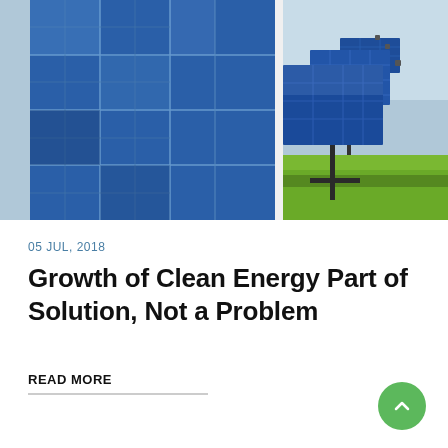[Figure (photo): Rows of blue solar panels in a field under a clear sky, viewed from a low angle. Left panel is a close-up of large solar modules; right panel shows multiple rows of tilted solar arrays on green grass.]
05 JUL, 2018
Growth of Clean Energy Part of Solution, Not a Problem
READ MORE